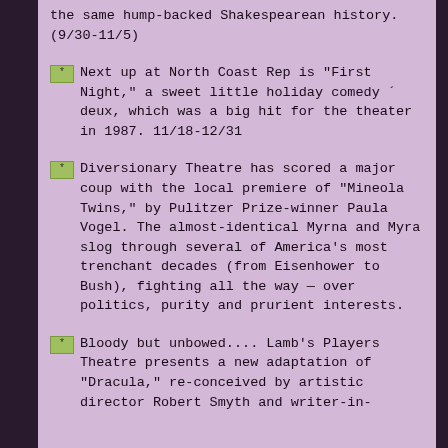the same hump-backed Shakespearean history. (9/30-11/5)
Next up at North Coast Rep is "First Night," a sweet little holiday comedy ´ deux, which was a big hit for the theater in 1987. 11/18-12/31
Diversionary Theatre has scored a major coup with the local premiere of "Mineola Twins," by Pulitzer Prize-winner Paula Vogel. The almost-identical Myrna and Myra slog through several of America's most trenchant decades (from Eisenhower to Bush), fighting all the way — over politics, purity and prurient interests.
Bloody but unbowed.... Lamb's Players Theatre presents a new adaptation of "Dracula," re-conceived by artistic director Robert Smyth and writer-in-